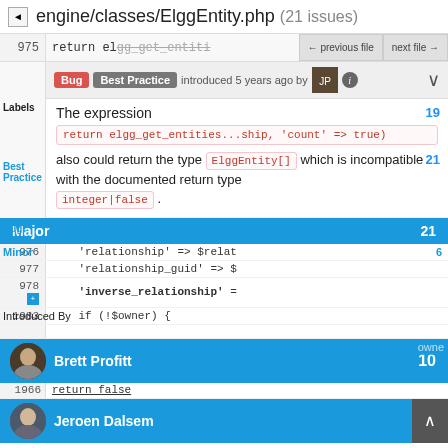engine/classes/ElggEntity.php (21 issues)
975   return elgg_get_entiti   ← previous file   next file →
Bug  Best Practice  introduced 5 years ago by [avatar] ℹ ∨
The expression
19
also could return the type  ElggEntity[]  which is incompatible with the documented return type  integer|false .
21
Major  21
976   'relationship' => $relat
Minor  6
977   'relationship_guid' => $
978 +  'inverse_relationship' =
Introduced By
1983   if (!$owner) {
Brett Profitt  10  owne
return false
Jeroen Dalsem  4